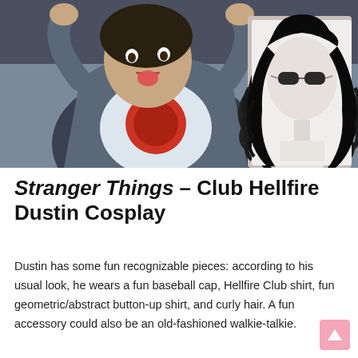[Figure (photo): A collage photo showing a man in a denim jacket over a Hellfire Club t-shirt sticking out his tongue with hands behind his head, alongside a mannequin head displaying a long curly black rock wig with aviator sunglasses]
Stranger Things – Club Hellfire Dustin Cosplay
Dustin has some fun recognizable pieces: according to his usual look, he wears a fun baseball cap, Hellfire Club shirt, fun geometric/abstract button-up shirt, and curly hair. A fun accessory could also be an old-fashioned walkie-talkie.